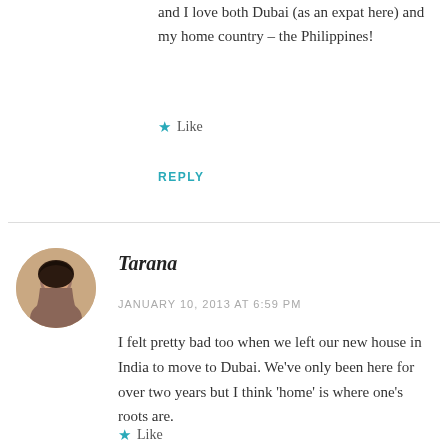and I love both Dubai (as an expat here) and my home country – the Philippines!
★ Like
REPLY
Tarana
JANUARY 10, 2013 AT 6:59 PM
I felt pretty bad too when we left our new house in India to move to Dubai. We've only been here for over two years but I think 'home' is where one's roots are.
★ Like